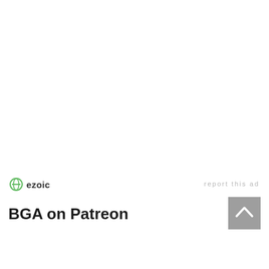[Figure (logo): Ezoic logo with green circle icon and 'ezoic' text in dark bold font]
report this ad
BGA on Patreon
[Figure (other): Scroll to top button — grey square with white upward chevron arrow]